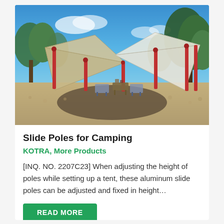[Figure (photo): Outdoor camping scene with two large tan/beige tarp canopies supported by red poles, providing shade over a campsite with chairs and tables, surrounded by trees under a blue sky]
Slide Poles for Camping
KOTRA, More Products
[INQ. NO. 2207C23] When adjusting the height of poles while setting up a tent, these aluminum slide poles can be adjusted and fixed in height…
READ MORE